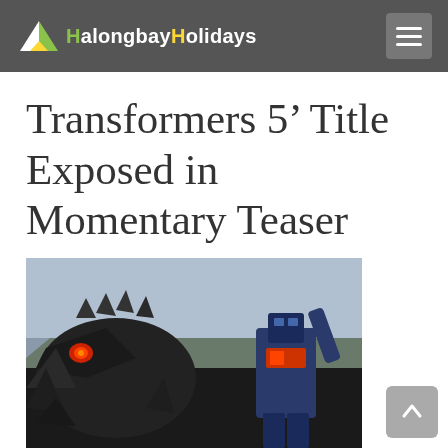HalongbayHolidays
Transformers 5' Title Exposed in Momentary Teaser
[Figure (photo): Movie still from Transformers: Age of Extinction showing a large mechanical dragon/dinosaur (Grimlock) with glowing red eyes facing off against Optimus Prime robot, with rocky cliffs in the background.]